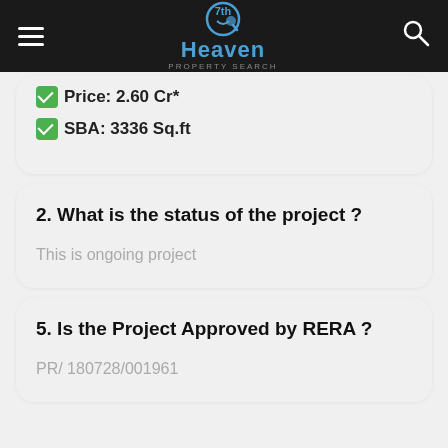7th Heaven — property search
Price: 2.60 Cr*
SBA: 3336 Sq.ft
2. What is the status of the project ?
This is ongoing project
5. Is the Project Approved by RERA ?
PR/ 180728/001961